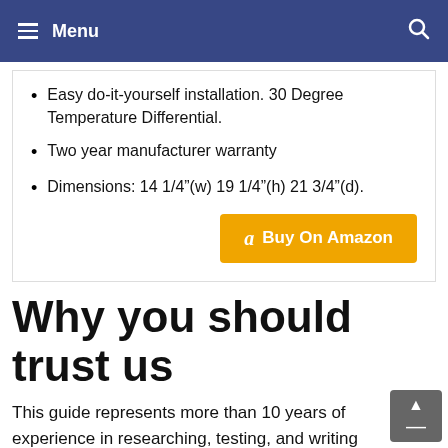Menu
Easy do-it-yourself installation. 30 Degree Temperature Differential.
Two year manufacturer warranty
Dimensions: 14 1/4”(w) 19 1/4”(h) 21 3/4”(d).
Buy On Amazon
Why you should trust us
This guide represents more than 10 years of experience in researching, testing, and writing about many subject. Our people are